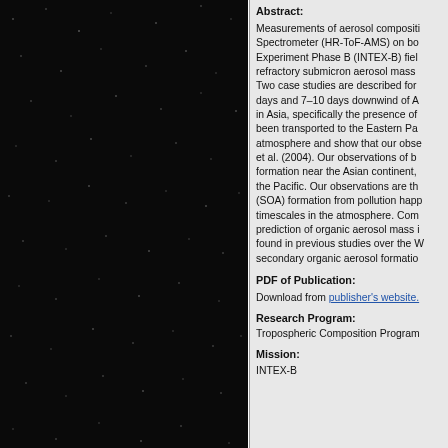Abstract:
Measurements of aerosol composition using a High-Resolution Time-of-Flight Aerosol Mass Spectrometer (HR-ToF-AMS) on board the NSF/NCAR C-130 aircraft during the Intercontinental Chemical Transport Experiment Phase B (INTEX-B) field campaign are presented. HR-ToF-AMS measures non-refractory submicron aerosol mass concentrations and chemical composition. Two case studies are described for air masses that were estimated to be 4–7 days and 7–10 days downwind of Asia. These case studies reflect emissions in Asia, specifically the presence of biomass burning aerosol, that has been transported to the Eastern Pacific. We compare with a global model of the atmosphere and show that our observations are consistent with results from DeBell et al. (2004). Our observations of both cases are consistent with secondary formation near the Asian continent, with subsequent transport and aging over the Pacific. Our observations are the first direct evidence of secondary organic aerosol (SOA) formation from pollution happening on the multi-day atmospheric timescales in the atmosphere. Comparison with a global model shows an under-prediction of organic aerosol mass in the free troposphere, similar to that found in previous studies over the US and Europe, and is evidence for missing secondary organic aerosol formation processes.
PDF of Publication:
Download from publisher's website.
Research Program:
Tropospheric Composition Program
Mission:
INTEX-B